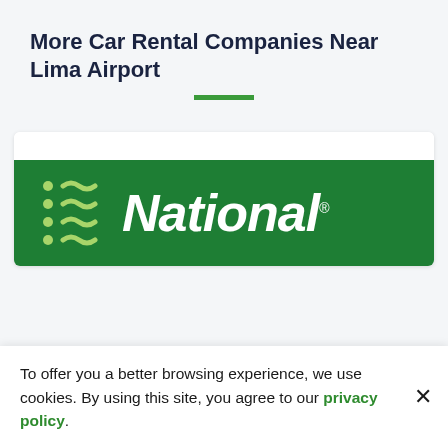More Car Rental Companies Near Lima Airport
[Figure (logo): National Car Rental logo — white italic 'National.' text with light green wave/swoosh symbol on a dark green background]
To offer you a better browsing experience, we use cookies. By using this site, you agree to our privacy policy.